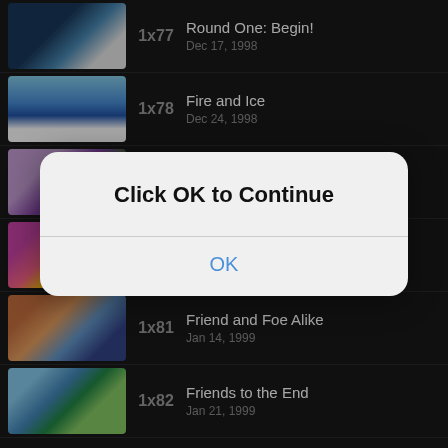[Figure (screenshot): Mobile app episode list showing Pokemon season 1 episodes on a dark background, with a modal dialog overlay saying 'Click OK to Continue' with an OK button]
1x77 | Round One: Begin! | Dec 17, 1998
1x78 | Fire and Ice | Dec 24, 1998
1x79 | The Fourth Round Rumble
1x80 | A Friend in Deed
1x81 | Friend and Foe Alike | Jan 14, 1999
1x82 | Friends to the End | Jan 21, 1999
Click OK to Continue
OK